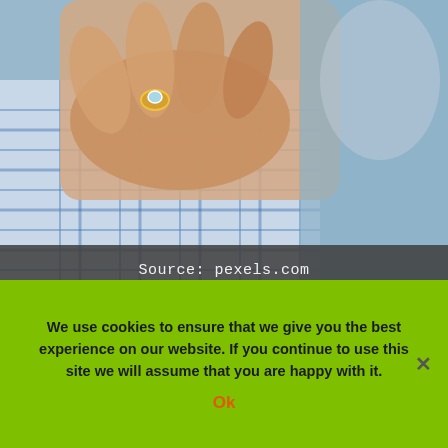[Figure (photo): Close-up photo of a woman's hand with an engagement ring resting on a man's shoulder wearing a blue plaid shirt]
Source: pexels.com
Yes, we all know how the sign “On Sale,” “Up to 50%,” or “Special Offer” can make such crowds in front of shops, especially for items of extreme value, both material and sentimental. The online stores work in the same way, with just
We use cookies to ensure that we give you the best experience on our website. If you continue to use this site we will assume that you are happy with it.
Ok